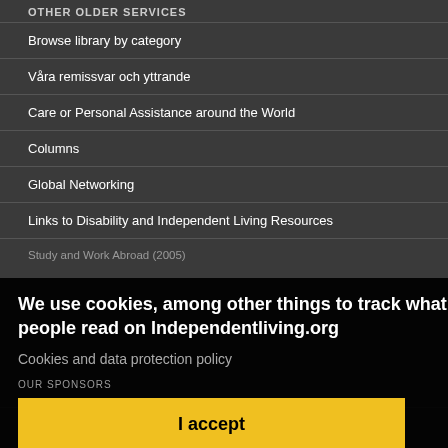OTHER OLDER SERVICES
Browse library by category
Våra remissvar och yttrande
Care or Personal Assistance around the World
Columns
Global Networking
Links to Disability and Independent Living Resources
Study and Work Abroad (2005)
We use cookies, among other things to track what people read on Independentliving.org
Cookies and data protection policy
OUR SPONSORS
I accept
[Figure (logo): STIL logo - red stylized text with tagline: Personlig assistans och politisk påverkan]
[Figure (logo): ReadSpeaker logo - orange and blue text]